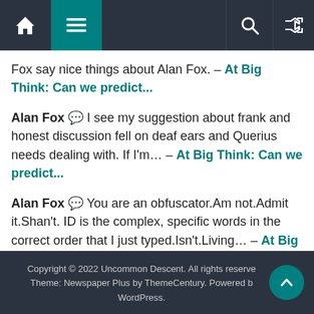Navigation bar with home, hamburger menu, search, and shuffle icons
Fox say nice things about Alan Fox. – At Big Think: Can we predict…
Alan Fox 💬 I see my suggestion about frank and honest discussion fell on deaf ears and Querius needs dealing with. If I'm… – At Big Think: Can we predict…
Alan Fox 💬 You are an obfuscator.Am not.Admit it.Shan't. ID is the complex, specific words in the correct order that I just typed.Isn't.Living… – At Big Think: Can we predict…
Copyright © 2022 Uncommon Descent. All rights reserved. Theme: Newspaper Plus by ThemeCentury. Powered by WordPress.